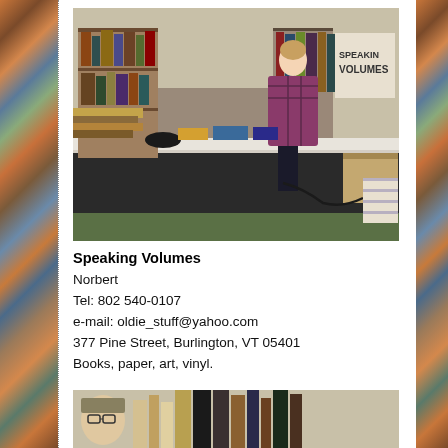[Figure (photo): A woman standing behind a long table covered with books at what appears to be a book fair or sale. Bookshelves and boxes of books are visible. A sign reading 'Speaking Volumes' is partially visible in the background.]
Speaking Volumes
Norbert
Tel: 802 540-0107
e-mail: oldie_stuff@yahoo.com
377 Pine Street, Burlington, VT 05401
Books, paper, art, vinyl.
[Figure (photo): Close-up of bookshelves with books visible at the bottom of the page.]